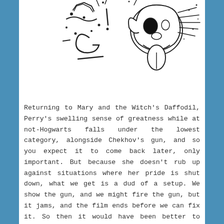[Figure (illustration): Hand-drawn cartoon illustration showing abstract scribbled letters resembling 'M', 'I', 'G' on the left side and a cartoon dog or creature with mouth open and tongue out on the right side, in black and white line art style.]
Returning to Mary and the Witch's Daffodil, Perry's swelling sense of greatness while at not-Hogwarts falls under the lowest category, alongside Chekhov's gun, and so you expect it to come back later, only important. But because she doesn't rub up against situations where her pride is shut down, what we get is a dud of a setup. We show the gun, and we might fire the gun, but it jams, and the film ends before we can fix it. So then it would have been better to never have shown the gun in the first place. The curious thing about this, though, is if you did strip away